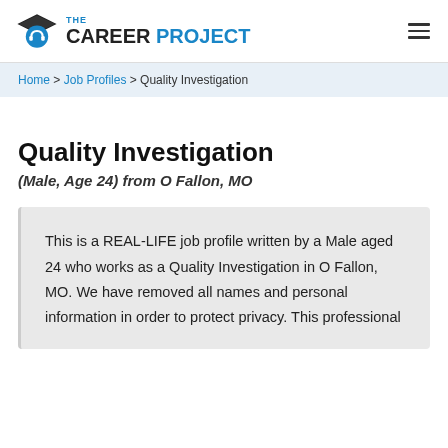[Figure (logo): The Career Project logo with graduation cap icon and blue/black text]
Home > Job Profiles > Quality Investigation
Quality Investigation
(Male, Age 24) from O Fallon, MO
This is a REAL-LIFE job profile written by a Male aged 24 who works as a Quality Investigation in O Fallon, MO. We have removed all names and personal information in order to protect privacy. This professional